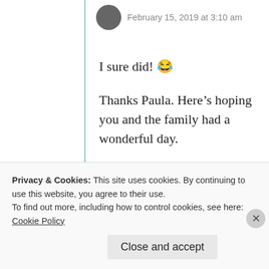February 15, 2019 at 3:10 am
I sure did! 😂
Thanks Paula. Here’s hoping you and the family had a wonderful day.
★ Like
↪ Reply
Privacy & Cookies: This site uses cookies. By continuing to use this website, you agree to their use.
To find out more, including how to control cookies, see here: Cookie Policy
Close and accept